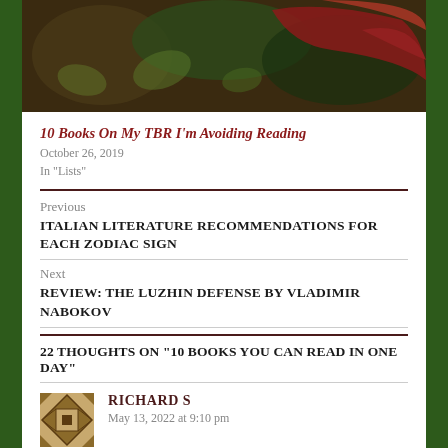[Figure (photo): Decorative book blog header image with dark green and red artistic elements]
10 Books On My TBR I’m Avoiding Reading
October 26, 2019
In “Lists”
Previous
ITALIAN LITERATURE RECOMMENDATIONS FOR EACH ZODIAC SIGN
Next
REVIEW: THE LUZHIN DEFENSE BY VLADIMIR NABOKOV
22 THOUGHTS ON “10 BOOKS YOU CAN READ IN ONE DAY”
RICHARD S
May 13, 2022 at 9:10 pm